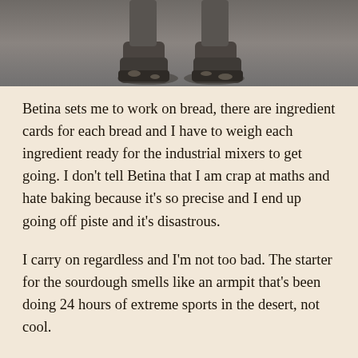[Figure (photo): Bottom portion of a person standing, showing muddy boots/shoes from ankle down, viewed from above on a grey surface.]
Betina sets me to work on bread, there are ingredient cards for each bread and I have to weigh each ingredient ready for the industrial mixers to get going. I don't tell Betina that I am crap at maths and hate baking because it's so precise and I end up going off piste and it's disastrous.
I carry on regardless and I'm not too bad. The starter for the sourdough smells like an armpit that's been doing 24 hours of extreme sports in the desert, not cool.
For the brownie the margarine needs to be scraped out using a spatula thing but the bag is almost empty, so I put my hand in to get more out – I feel like I'm tending to a cows backside and cannot believe the moisturising effect this has on my hands. WIN.